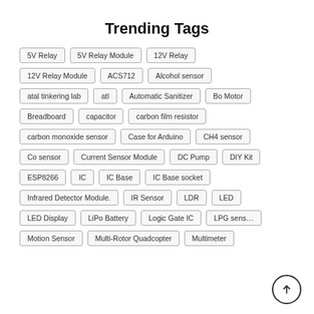Trending Tags
5V Relay
5V Relay Module
12V Relay
12V Relay Module
ACS712
Alcohol sensor
atal tinkering lab
atl
Automatic Sanitizer
Bo Motor
Breadboard
capacitor
carbon film resistor
carbon monoxide sensor
Case for Arduino
CH4 sensor
Co sensor
Current Sensor Module
DC Pump
DIY Kit
ESP8266
IC
IC Base
IC Base socket
Infrared Detector Module.
IR Sensor
LDR
LED
LED Display
LiPo Battery
Logic Gate IC
LPG sensor
Motion Sensor
Multi-Rotor Quadcopter
Multimeter